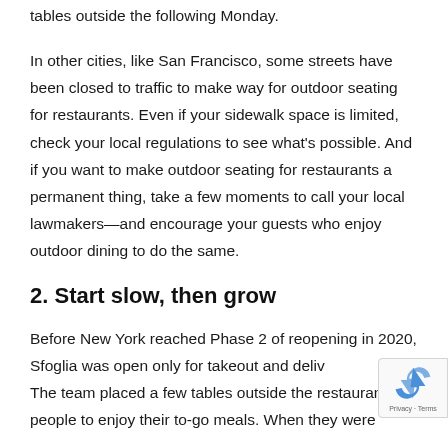tables outside the following Monday.
In other cities, like San Francisco, some streets have been closed to traffic to make way for outdoor seating for restaurants. Even if your sidewalk space is limited, check your local regulations to see what's possible. And if you want to make outdoor seating for restaurants a permanent thing, take a few moments to call your local lawmakers—and encourage your guests who enjoy outdoor dining to do the same.
2. Start slow, then grow
Before New York reached Phase 2 of reopening in 2020, Sfoglia was open only for takeout and deliv… The team placed a few tables outside the restauran… people to enjoy their to-go meals. When they were
[Figure (other): reCAPTCHA badge with logo and Privacy/Terms links]